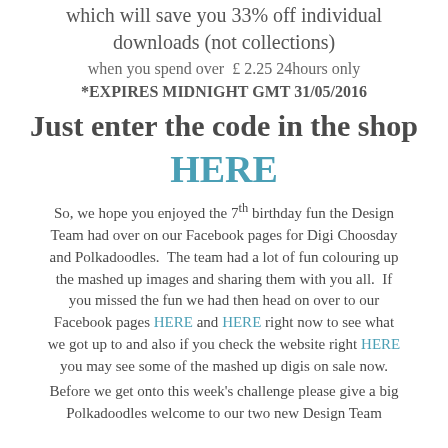which will save you 33% off individual downloads (not collections)
when you spend over £2.25 24hours only
*EXPIRES MIDNIGHT GMT 31/05/2016
Just enter the code in the shop
HERE
So, we hope you enjoyed the 7th birthday fun the Design Team had over on our Facebook pages for Digi Choosday and Polkadoodles.  The team had a lot of fun colouring up the mashed up images and sharing them with you all.  If you missed the fun we had then head on over to our Facebook pages HERE and HERE right now to see what we got up to and also if you check the website right HERE you may see some of the mashed up digis on sale now.
Before we get onto this week’s challenge please give a big Polkadoodles welcome to our two new Design Team